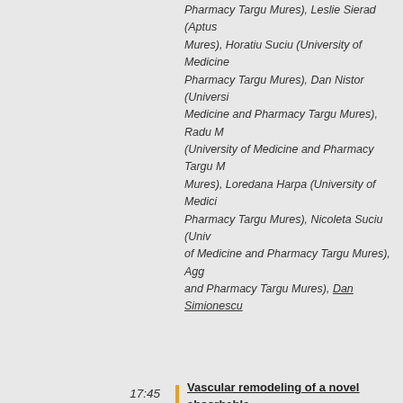Pharmacy Targu Mures), Leslie Sierad (Aptus Mures), Horatiu Suciu (University of Medicine Pharmacy Targu Mures), Dan Nistor (University of Medicine and Pharmacy Targu Mures), Radu (University of Medicine and Pharmacy Targu Mures), Loredana Harpa (University of Medicine Pharmacy Targu Mures), Nicoleta Suciu (University of Medicine and Pharmacy Targu Mures), Agg and Pharmacy Targu Mures), Dan Simionescu
17:45 — Vascular remodeling of a novel absorbable systemic circulation
» Fred Schoen (Department of Pathology, Brigham), Marieke Brugmans (Xeltis BV, Eindhoven), Ole
18:00 — In in-situ approach to estimate the layer-specific...
» Michael Sacks (University of Texas at Austin)
Break
Thursday
18:15 - 18:30
Venue: Main Ball Forum